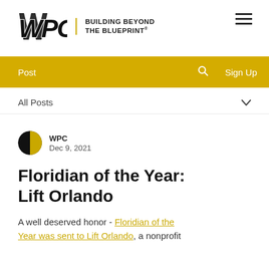[Figure (logo): WPC logo with bold stylized letters and tagline 'BUILDING BEYOND THE BLUEPRINT®' separated by a gold vertical line]
[Figure (other): Hamburger menu icon (three horizontal lines)]
Post   🔍   Sign Up
All Posts ∨
WPC
Dec 9, 2021
Floridian of the Year: Lift Orlando
A well deserved honor - Floridian of the Year was sent to Lift Orlando, a nonprofit